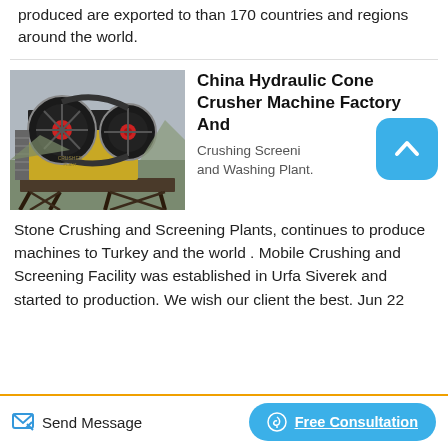produced are exported to than 170 countries and regions around the world.
[Figure (photo): Outdoor industrial jaw crusher machine with large flywheels, yellow body, mounted on a steel platform structure]
China Hydraulic Cone Crusher Machine Factory And
Crushing Screening and Washing Plant.
Stone Crushing and Screening Plants, continues to produce machines to Turkey and the world . Mobile Crushing and Screening Facility was established in Urfa Siverek and started to production. We wish our client the best. Jun 22
Send Message   Free Consultation